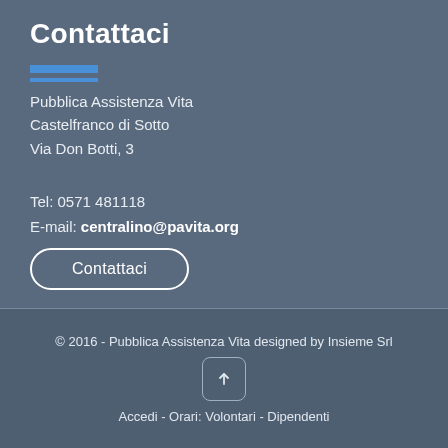Contattaci
Pubblica Assistenza Vita
Castelfranco di Sotto
Via Don Botti, 3
Tel: 0571 481118
E-mail: centralino@pavita.org
Contattaci
© 2016 - Pubblica Assistenza Vita designed by Insieme Srl
Accedi - Orari: Volontari - Dipendenti